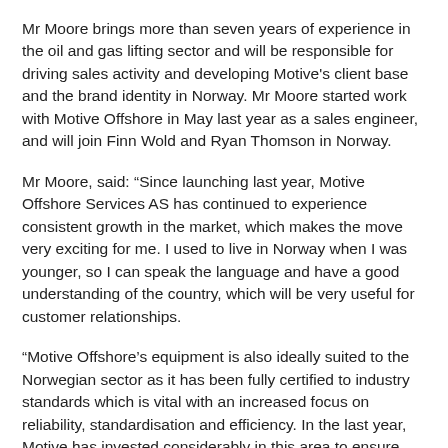Mr Moore brings more than seven years of experience in the oil and gas lifting sector and will be responsible for driving sales activity and developing Motive's client base and the brand identity in Norway. Mr Moore started work with Motive Offshore in May last year as a sales engineer, and will join Finn Wold and Ryan Thomson in Norway.
Mr Moore, said: “Since launching last year, Motive Offshore Services AS has continued to experience consistent growth in the market, which makes the move very exciting for me. I used to live in Norway when I was younger, so I can speak the language and have a good understanding of the country, which will be very useful for customer relationships.
“Motive Offshore’s equipment is also ideally suited to the Norwegian sector as it has been fully certified to industry standards which is vital with an increased focus on reliability, standardisation and efficiency. In the last year, Motive has invested considerably in this area to ensure our equipment is safe and up-to-date, offering increased productivity and less downtime for our clients.”
Chief executive officer, James Gregg, said: “Motive Offshore Services AS has developed sustainable growth and success in Norway over the last year, with increased demand for our equipment and high level of service, which